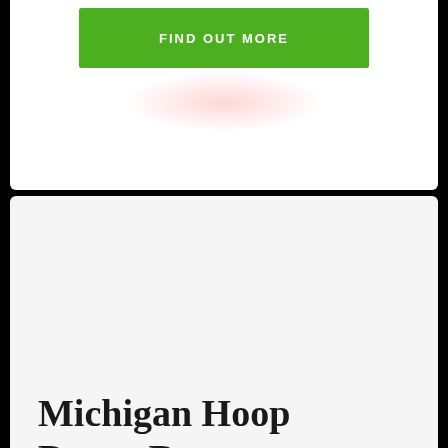[Figure (other): Green 'FIND OUT MORE' button with pink glow below it, on a white card section]
Michigan Hoop Dance Retreat
MHDR connects hoopers from all